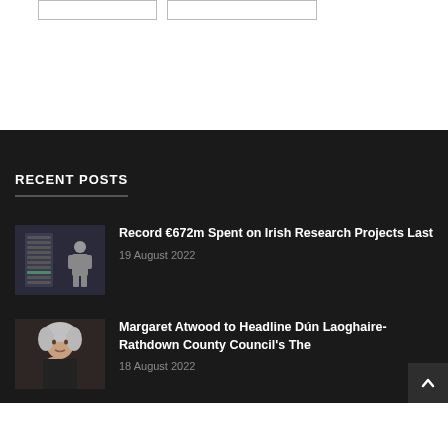RECENT POSTS
[Figure (photo): Photo of server racks / data center with person working]
Record €672m Spent on Irish Research Projects Last
19 August 2022
[Figure (photo): Photo of Margaret Atwood, elderly woman with white hair, posing thoughtfully]
Margaret Atwood to Headline Dún Laoghaire-Rathdown County Council's The
18 August 2022